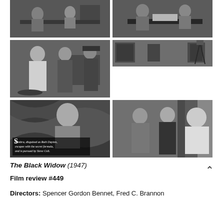[Figure (photo): Six black-and-white film still photos arranged in a 3x2 grid from the 1947 serial The Black Widow. Top-left: two people at a desk in an office. Top-right: people sitting at a large desk with papers. Middle-left: three people standing, one in chef attire, one in dark dress, one in hat. Middle-right: wide shot of a room with equipment. Bottom-left: title card showing a woman (Sombra disguised as Ruth Dayton) with text 'Sombra, disguised as Ruth Dayton, escapes with the secret formula, and is pursued by Steve Colt.' Bottom-right: three people standing together in conversation.]
The Black Widow (1947)
Film review #449
Directors: Spencer Gordon Bennet, Fred C. Brannon